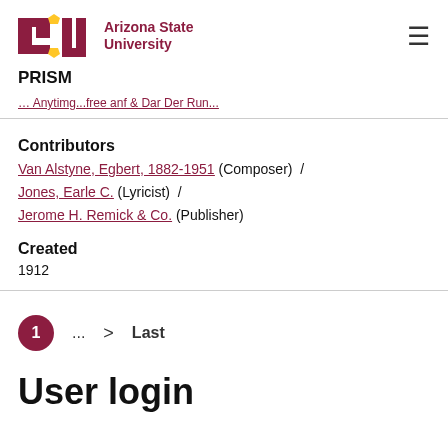ASU Arizona State University | PRISM
[breadcrumb link - partially visible]
Contributors
Van Alstyne, Egbert, 1882-1951 (Composer) / Jones, Earle C. (Lyricist) / Jerome H. Remick & Co. (Publisher)
Created
1912
1 ... > Last
User login